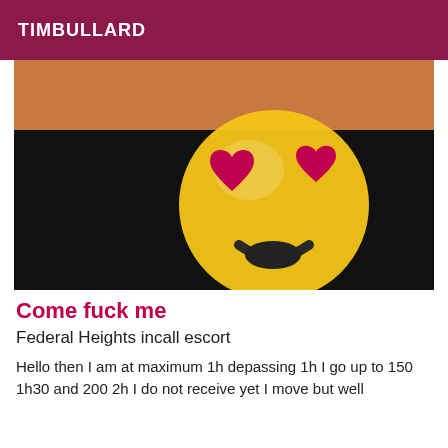TIMBULLARD
[Figure (photo): Photo with an emoji face overlaid showing a smiling face with heart eyes on a dark/black background with a skin-tone image at top.]
Come fuck me
Federal Heights incall escort
Hello then I am at maximum 1h depassing 1h I go up to 150 1h30 and 200 2h I do not receive yet I move but well